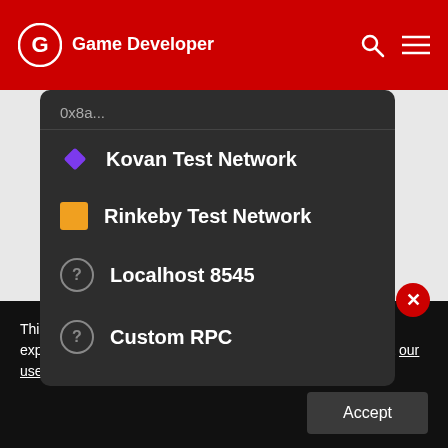Game Developer
[Figure (screenshot): A screenshot of a MetaMask network selection dropdown showing: Kovan Test Network (purple diamond icon), Rinkeby Test Network (orange square icon), Localhost 8545 (question mark icon), Custom RPC (question mark icon). Behind the dropdown is a wallet interface with SENT / TOKENS tabs and 'No transaction history.' message.]
This site uses cookies to provide you with the best user experience possible. By using Game Developer, you accept our use of cookies.
Accept